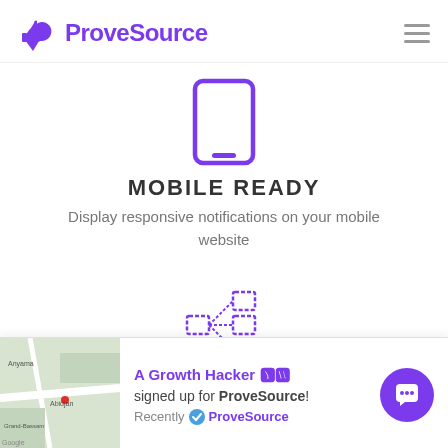ProveSource
[Figure (illustration): Purple smartphone/mobile outline icon]
MOBILE READY
Display responsive notifications on your mobile website
[Figure (illustration): Purple dashed-border grid/customer activities icon]
CUSTOMER ACTIVITIES
A Growth Hacker 🇨🇮 signed up for ProveSource! Recently ✅ ProveSource